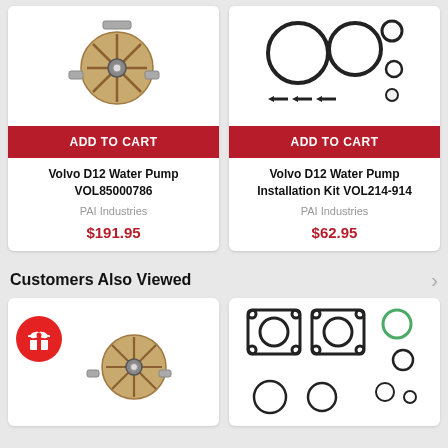[Figure (photo): Volvo D12 Water Pump product photo (left card)]
ADD TO CART
Volvo D12 Water Pump VOL85000786
PAI Industries
$191.95
[Figure (photo): Volvo D12 Water Pump Installation Kit, showing o-rings and seals laid out]
ADD TO CART
Volvo D12 Water Pump Installation Kit VOL214-914
PAI Industries
$62.95
Customers Also Viewed
[Figure (photo): Volvo water pump with red gift badge overlay (left bottom card)]
[Figure (photo): Gasket and o-ring kit for Volvo D12 (right bottom card)]